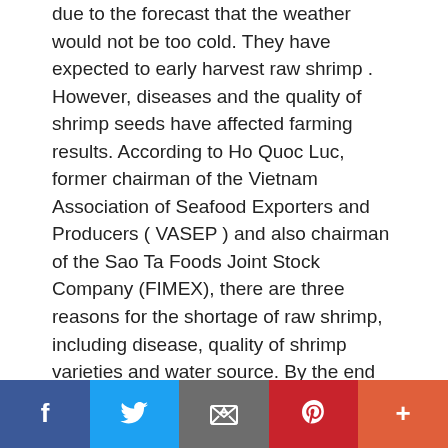due to the forecast that the weather would not be too cold. They have expected to early harvest raw shrimp . However, diseases and the quality of shrimp seeds have affected farming results. According to Ho Quoc Luc, former chairman of the Vietnam Association of Seafood Exporters and Producers ( VASEP ) and also chairman of the Sao Ta Foods Joint Stock Company (FIMEX), there are three reasons for the shortage of raw shrimp, including disease, quality of shrimp varieties and water source. By the end of this year, the supply of raw shrimp will not be abundant, and prices will remain high, … [Read more...]
[Figure (infographic): Social media share buttons: Facebook (blue), Twitter (light blue), Email (grey), Pinterest (red), More (orange-red)]